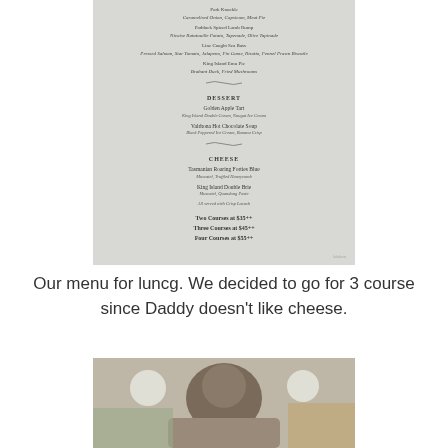[Figure (photo): A restaurant menu photographed on a grey/white background showing dessert, cheese sections and pricing for two, three, four courses]
Our menu for luncg. We decided to go for 3 course since Daddy doesn't like cheese.
[Figure (photo): A person photographed from above in a restaurant setting]